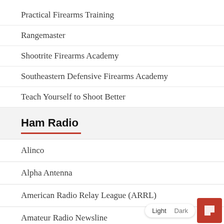Practical Firearms Training
Rangemaster
Shootrite Firearms Academy
Southeastern Defensive Firearms Academy
Teach Yourself to Shoot Better
Ham Radio
Alinco
Alpha Antenna
American Radio Relay League (ARRL)
Amateur Radio Newsline
AMSAT North America